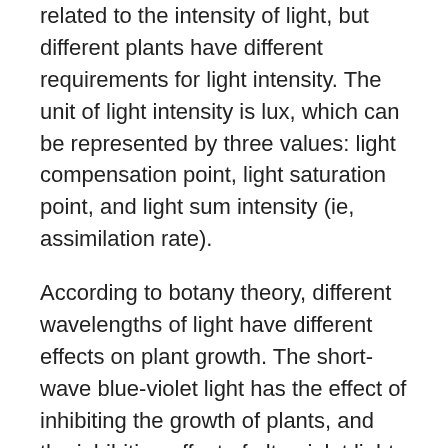related to the intensity of light, but different plants have different requirements for light intensity. The unit of light intensity is lux, which can be represented by three values: light compensation point, light saturation point, and light sum intensity (ie, assimilation rate).
According to botany theory, different wavelengths of light have different effects on plant growth. The short-wave blue-violet light has the effect of inhibiting the growth of plants, and the inhibiting effect of ultraviolet light is more significant, which can make plants dwarf. Light blue plastic film is often used to cover seedlings. It can transmit ultraviolet light and inhibit plant growth. Compared with colorless film, seedlings grow more robustly. On the basis of natural lighting, the addition of supplementary lighting in the blue and red bands has a significant